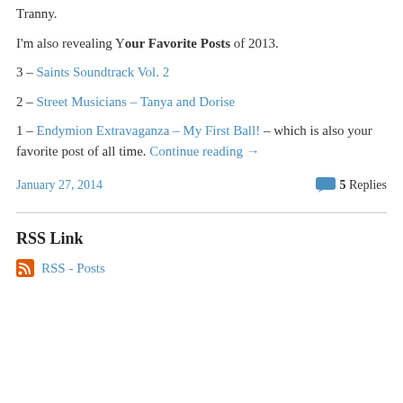Tranny.
I'm also revealing Your Favorite Posts of 2013.
3 – Saints Soundtrack Vol. 2
2 – Street Musicians – Tanya and Dorise
1 – Endymion Extravaganza – My First Ball! – which is also your favorite post of all time. Continue reading →
January 27, 2014    5 Replies
RSS Link
RSS - Posts